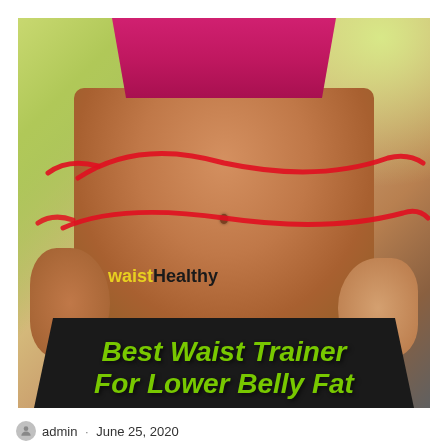[Figure (photo): Woman's midsection showing toned abdomen wearing a pink sports bra and black shorts, with red circular swirl lines around the waist area, watermark text 'waistHealthy' on the stomach, and bold green text overlay reading 'Best Waist Trainer For Lower Belly Fat']
admin · June 25, 2020